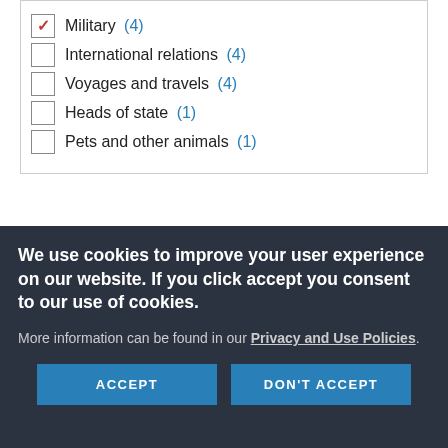Military (4)
International relations (4)
Voyages and travels (4)
Heads of state (1)
Pets and other animals (1)
PERSON
We use cookies to improve your user experience on our website. If you click accept you consent to our use of cookies.

More information can be found in our Privacy and Use Policies.
ACCEPT
DON'T ACCEPT